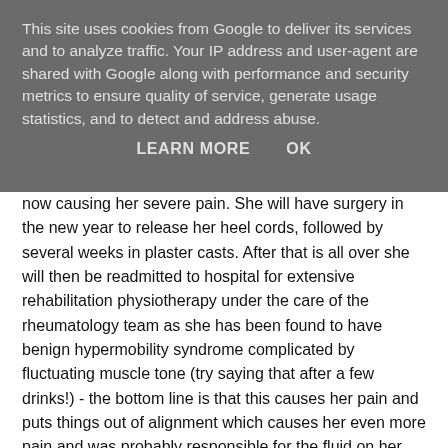This site uses cookies from Google to deliver its services and to analyze traffic. Your IP address and user-agent are shared with Google along with performance and security metrics to ensure quality of service, generate usage statistics, and to detect and address abuse.
LEARN MORE    OK
now causing her severe pain. She will have surgery in the new year to release her heel cords, followed by several weeks in plaster casts. After that is all over she will then be readmitted to hospital for extensive rehabilitation physiotherapy under the care of the rheumatology team as she has been found to have benign hypermobility syndrome complicated by fluctuating muscle tone (try saying that after a few drinks!) - the bottom line is that this causes her pain and puts things out of alignment which causes her even more pain and was probably responsible for the fluid on her hips during the summer.
We met with Daisy's Gastroenterologist a few weeks back and he now feels that the extreme inflammation she